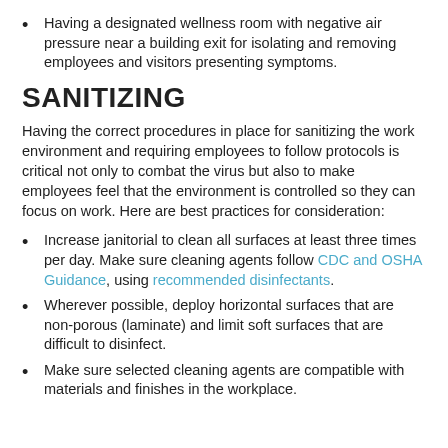Having a designated wellness room with negative air pressure near a building exit for isolating and removing employees and visitors presenting symptoms.
SANITIZING
Having the correct procedures in place for sanitizing the work environment and requiring employees to follow protocols is critical not only to combat the virus but also to make employees feel that the environment is controlled so they can focus on work. Here are best practices for consideration:
Increase janitorial to clean all surfaces at least three times per day. Make sure cleaning agents follow CDC and OSHA Guidance, using recommended disinfectants.
Wherever possible, deploy horizontal surfaces that are non-porous (laminate) and limit soft surfaces that are difficult to disinfect.
Make sure selected cleaning agents are compatible with materials and finishes in the workplace.